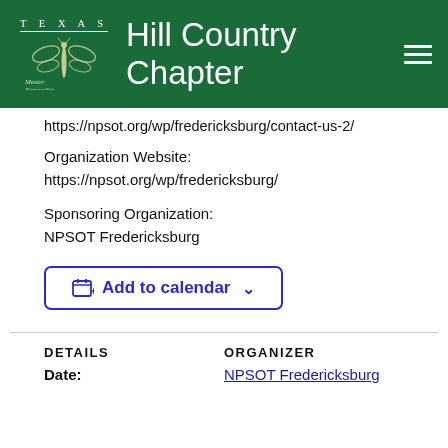TEXAS Master Naturalist – Hill Country Chapter
https://npsot.org/wp/fredericksburg/contact-us-2/
Organization Website:
https://npsot.org/wp/fredericksburg/
Sponsoring Organization:
NPSOT Fredericksburg
[Figure (other): Add to calendar button with calendar icon and dropdown chevron]
DETAILS
ORGANIZER
Date:
NPSOT Fredericksburg